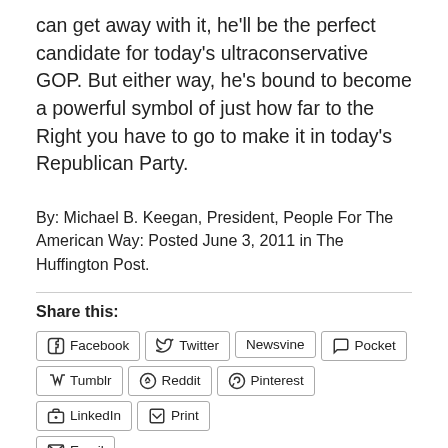can get away with it, he'll be the perfect candidate for today's ultraconservative GOP. But either way, he's bound to become a powerful symbol of just how far to the Right you have to go to make it in today's Republican Party.
By: Michael B. Keegan, President, People For The American Way: Posted June 3, 2011 in The Huffington Post.
Share this:
Facebook
Twitter
Newsvine
Pocket
Tumblr
Reddit
Pinterest
LinkedIn
Print
Email